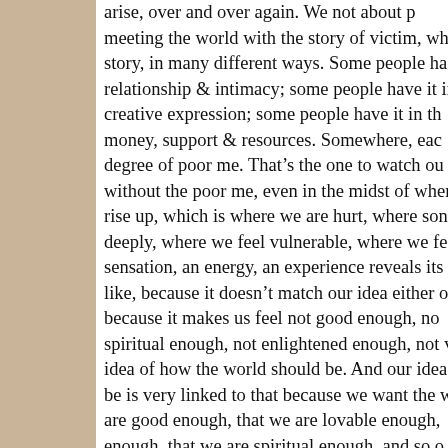arise, over and over again. We not about poor me, meeting the world with the story of victim, which is a story, in many different ways. Some people have it in relationship & intimacy; some people have it in creative expression; some people have it in the money, support & resources. Somewhere, each degree of poor me. That's the one to watch out without the poor me, even in the midst of where rise up, which is where we are hurt, where something deeply, where we feel vulnerable, where we feel sensation, an energy, an experience reveals its like, because it doesn't match our idea either because it makes us feel not good enough, not spiritual enough, not enlightened enough, not with idea of how the world should be. And our idea be is very linked to that because we want the world are good enough, that we are lovable enough, enough, that we are spiritual enough, and so on. That's where division, that's where the world...